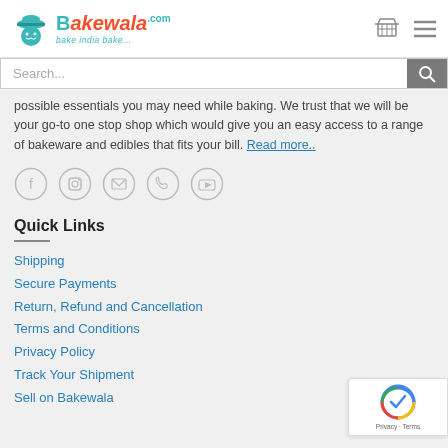Bakewala.com — bake india bake...
possible essentials you may need while baking. We trust that we will be your go-to one stop shop which would give you an easy access to a range of bakeware and edibles that fits your bill. Read more..
[Figure (other): Social media icon links: Facebook, Instagram, Email, Phone, YouTube — gray circle outlines]
Quick Links
Shipping
Secure Payments
Return, Refund and Cancellation
Terms and Conditions
Privacy Policy
Track Your Shipment
Sell on Bakewala